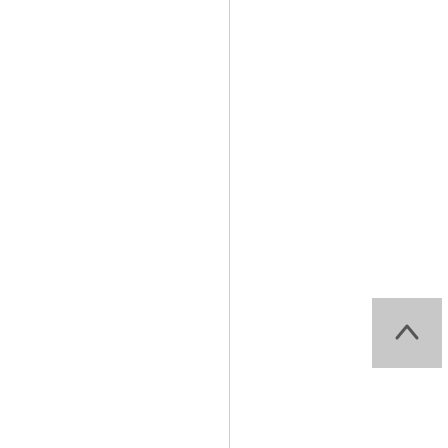heneveryo u interact
[Figure (other): Scroll to top button with upward arrow, grey background]